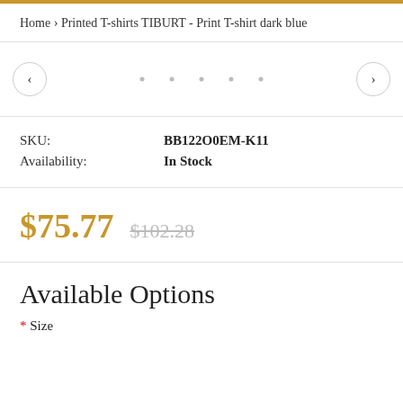Home › Printed T-shirts TIBURT - Print T-shirt dark blue
[Figure (other): Product image carousel area with left and right navigation arrows and dot indicators]
SKU: BB122O0EM-K11
Availability: In Stock
$75.77  $102.28
Available Options
* Size